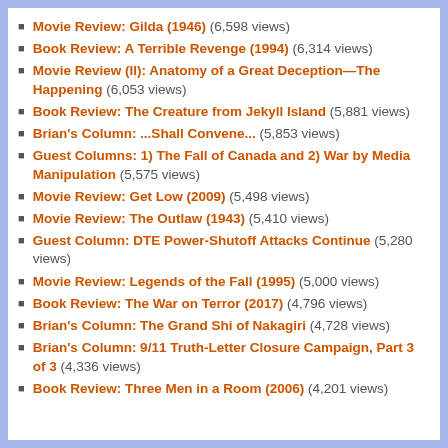Movie Review: Gilda (1946) (6,598 views)
Book Review: A Terrible Revenge (1994) (6,314 views)
Movie Review (II): Anatomy of a Great Deception—The Happening (6,053 views)
Book Review: The Creature from Jekyll Island (5,881 views)
Brian's Column: ...Shall Convene... (5,853 views)
Guest Columns: 1) The Fall of Canada and 2) War by Media Manipulation (5,575 views)
Movie Review: Get Low (2009) (5,498 views)
Movie Review: The Outlaw (1943) (5,410 views)
Guest Column: DTE Power-Shutoff Attacks Continue (5,280 views)
Movie Review: Legends of the Fall (1995) (5,000 views)
Book Review: The War on Terror (2017) (4,796 views)
Brian's Column: The Grand Shi of Nakagiri (4,728 views)
Brian's Column: 9/11 Truth-Letter Closure Campaign, Part 3 of 3 (4,336 views)
Book Review: Three Men in a Room (2006) (4,201 views)